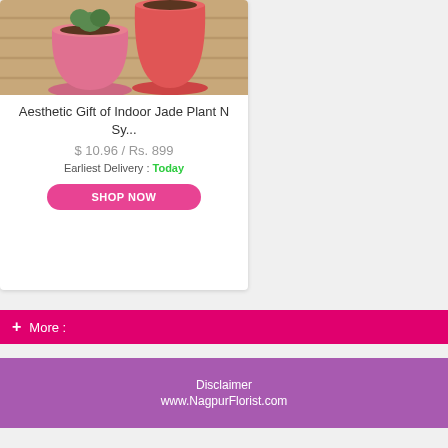[Figure (photo): Two plant pots (pink/red) on a wooden surface, one containing a jade plant with soil visible]
Aesthetic Gift of Indoor Jade Plant N Sy...
$ 10.96 / Rs. 899
Earliest Delivery : Today
SHOP NOW
+ More :
Disclaimer
www.NagpurFlorist.com